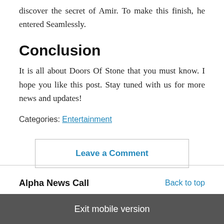discover the secret of Amir. To make this finish, he entered Seamlessly.
Conclusion
It is all about Doors Of Stone that you must know. I hope you like this post. Stay tuned with us for more news and updates!
Categories: Entertainment
Leave a Comment
Alpha News Call   Back to top
Exit mobile version